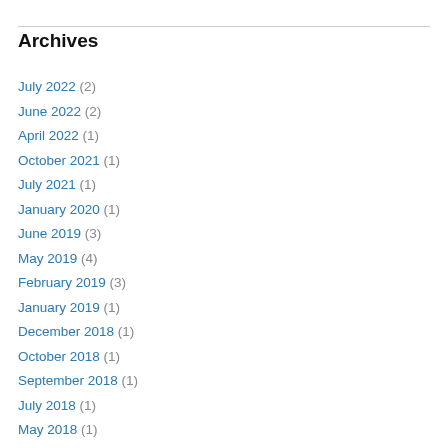Archives
July 2022 (2)
June 2022 (2)
April 2022 (1)
October 2021 (1)
July 2021 (1)
January 2020 (1)
June 2019 (3)
May 2019 (4)
February 2019 (3)
January 2019 (1)
December 2018 (1)
October 2018 (1)
September 2018 (1)
July 2018 (1)
May 2018 (1)
November 2017 (2)